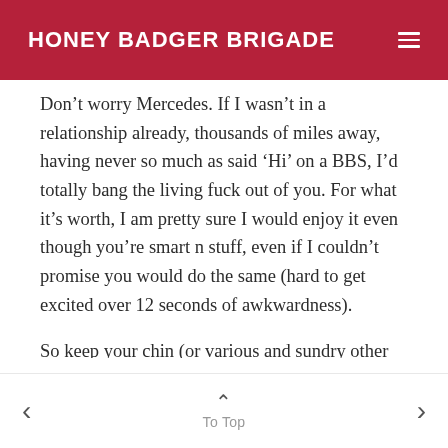HONEY BADGER BRIGADE
Don’t worry Mercedes. If I wasn’t in a relationship already, thousands of miles away, having never so much as said ‘Hi’ on a BBS, I’d totally bang the living fuck out of you. For what it’s worth, I am pretty sure I would enjoy it even though you’re smart n stuff, even if I couldn’t promise you would do the same (hard to get excited over 12 seconds of awkwardness).
So keep your chin (or various and sundry other bits) up. Most men don’t know that women like
To Top